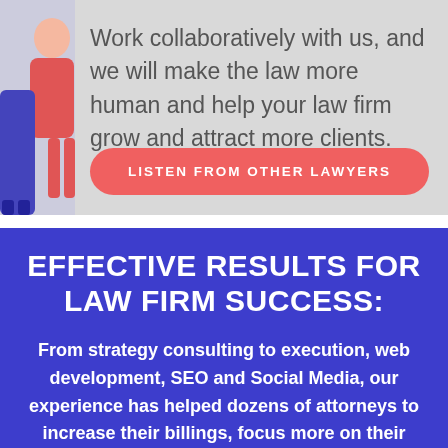[Figure (illustration): Partial illustration of a person (lawyer/professional figure) with red and blue colors on the left side of the top banner]
Work collaboratively with us, and we will make the law more human and help your law firm grow and attract more clients.
LISTEN FROM OTHER LAWYERS
EFFECTIVE RESULTS FOR LAW FIRM SUCCESS:
From strategy consulting to execution, web development, SEO and Social Media, our experience has helped dozens of attorneys to increase their billings, focus more on their